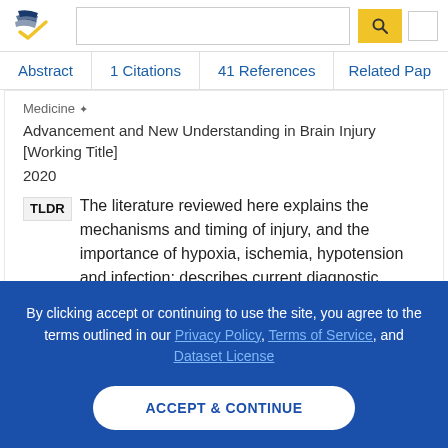Semantic Scholar — search bar and navigation
Abstract | 1 Citations | 41 References | Related Papers
Medicine
Advancement and New Understanding in Brain Injury [Working Title]
2020
TLDR  The literature reviewed here explains the mechanisms and timing of injury, and the importance of hypoxia, ischemia, hypotension and infection; describes current diagnostic strategies, neuroimaging technologies and care entities available; and outlines
By clicking accept or continuing to use the site, you agree to the terms outlined in our Privacy Policy, Terms of Service, and Dataset License
ACCEPT & CONTINUE